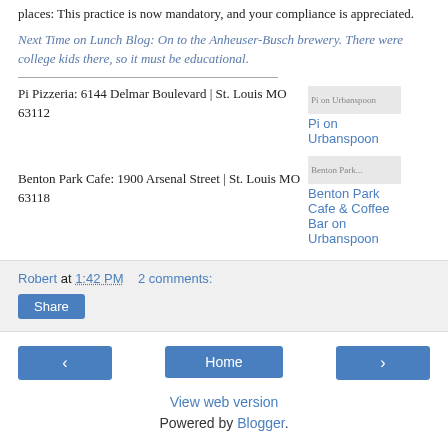places: This practice is now mandatory, and your compliance is appreciated.
Next Time on Lunch Blog: On to the Anheuser-Busch brewery. There were college kids there, so it must be educational.
Pi Pizzeria: 6144 Delmar Boulevard | St. Louis MO 63112
Pi on Urbanspoon
Benton Park Cafe: 1900 Arsenal Street | St. Louis MO 63118
Benton Park Cafe & Coffee Bar on Urbanspoon
Robert at 1:42 PM    2 comments:
Share
Home
View web version
Powered by Blogger.